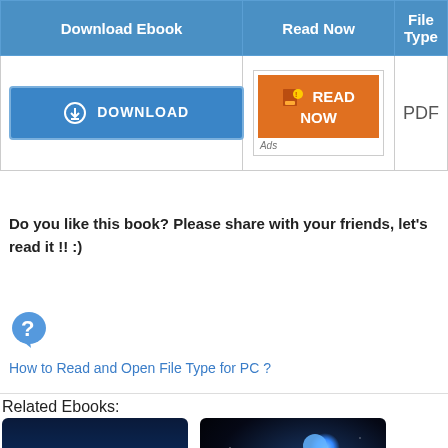| Download Ebook | Read Now | File Type |
| --- | --- | --- |
| [DOWNLOAD button] | [READ NOW button] Ads | PDF |
Do you like this book? Please share with your friends, let's read it !! :)
[Figure (illustration): Blue question mark speech bubble icon]
How to Read and Open File Type for PC ?
Related Ebooks:
[Figure (photo): Book cover: Foundations of Astronomy by Michael A. Seeds, dark blue space background]
[Figure (photo): Dark space/astronomy image with blue glowing star clusters and nebula]